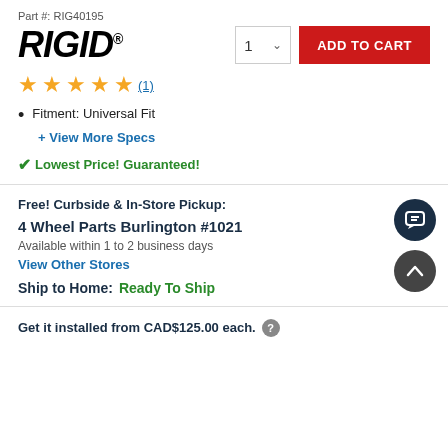Part #: RIG40195
[Figure (logo): RIGID brand logo in bold italic black text with registered trademark dot]
1 ∨ (quantity selector)
ADD TO CART
★★★★★ (1)
Fitment: Universal Fit
+ View More Specs
✓ Lowest Price! Guaranteed!
Free! Curbside & In-Store Pickup:
4 Wheel Parts Burlington #1021
Available within 1 to 2 business days
View Other Stores
Ship to Home:  Ready To Ship
Get it installed from CAD$125.00 each. ?